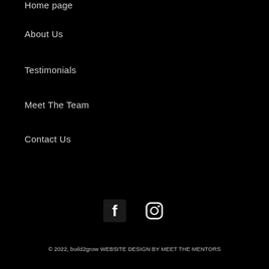Home page
About Us
Testimonials
Meet The Team
Contact Us
[Figure (other): Facebook and Instagram social media icons in white on black background]
© 2022, build2grow WEBSITE DESIGN BY MEET THE MENTORS